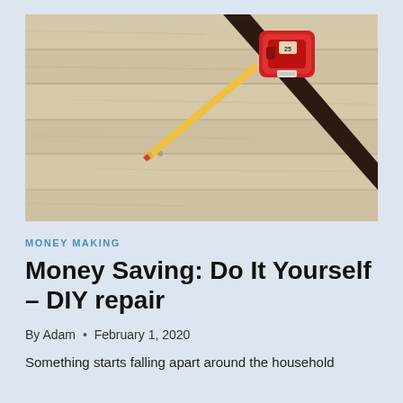[Figure (photo): Overhead photo of light wood planks with a red tape measure and a pencil with a dark ruler/straight edge diagonally across the surface]
MONEY MAKING
Money Saving: Do It Yourself – DIY repair
By Adam • February 1, 2020
Something starts falling apart around the household